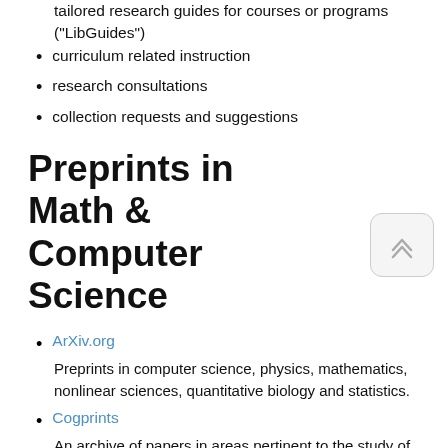tailored research guides for courses or programs ("LibGuides")
curriculum related instruction
research consultations
collection requests and suggestions
Preprints in Math & Computer Science
ArXiv.org — Preprints in computer science, physics, mathematics, nonlinear sciences, quantitative biology and statistics.
Cogprints — An archive of papers in areas pertinent to the study of cognition. These include Computer Science (AI, robotics, computer vison, learning, speech, neural networks), Psychology, Neuroscience, Linguistics, Philosophy (mind, language, knowledge, science, logic), Biology, Medicine (e.g. Neurology, imaging), as well as other areas of the physical